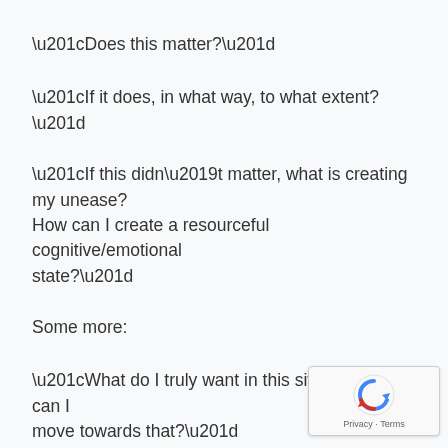“Does this matter?”
“If it does, in what way, to what extent?”
“If this didn’t matter, what is creating my unease? How can I create a resourceful cognitive/emotional state?”
Some more:
“What do I truly want in this situation? How can I move towards that?”
“What is the best outcome for all involved, including myself?”